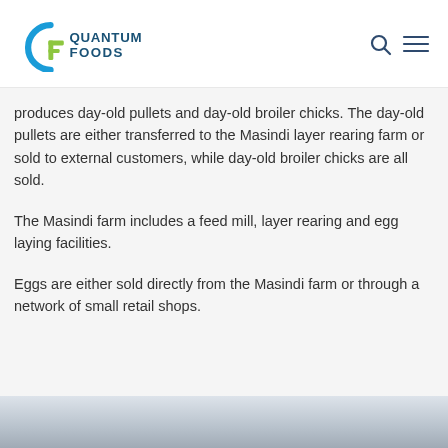Quantum Foods
produces day-old pullets and day-old broiler chicks. The day-old pullets are either transferred to the Masindi layer rearing farm or sold to external customers, while day-old broiler chicks are all sold.
The Masindi farm includes a feed mill, layer rearing and egg laying facilities.
Eggs are either sold directly from the Masindi farm or through a network of small retail shops.
[Figure (photo): Outdoor landscape photo, sky and ground visible at bottom of page]